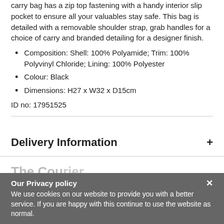carry bag has a zip top fastening with a handy interior slip pocket to ensure all your valuables stay safe. This bag is detailed with a removable shoulder strap, grab handles for a choice of carry and branded detailing for a designer finish.
Composition: Shell: 100% Polyamide; Trim: 100% Polyvinyl Chloride; Lining: 100% Polyester
Colour: Black
Dimensions: H27 x W32 x D15cm
ID no: 17951525
Delivery Information
Our Privacy policy
We use cookies on our website to provide you with a better service. If you are happy with this continue to use the website as normal.